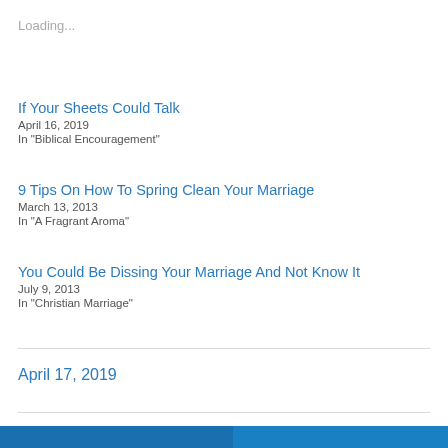Loading...
If Your Sheets Could Talk
April 16, 2019
In "Biblical Encouragement"
9 Tips On How To Spring Clean Your Marriage
March 13, 2013
In "A Fragrant Aroma"
You Could Be Dissing Your Marriage And Not Know It
July 9, 2013
In "Christian Marriage"
April 17, 2019